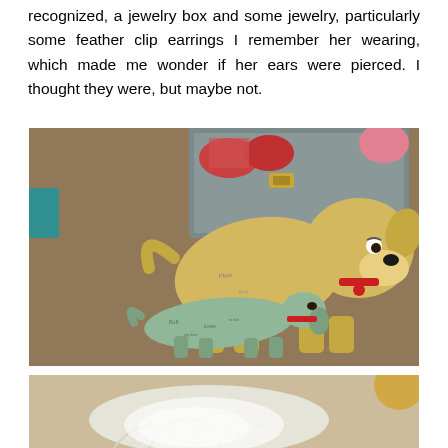recognized, a jewelry box and some jewelry, particularly some feather clip earrings I remember her wearing, which made me wonder if her ears were pierced. I thought they were, but maybe not.
[Figure (photo): Photo of stuffed animal toys on carpet, one large yellow dog-shaped plush toy and a smaller mint-green dachshund plush with writing on it, in front of an open metal suitcase or jewelry box with red items inside.]
[Figure (photo): Partial photo showing white feathery or fluffy material against a blurred background, possibly feather earrings or a bird.]